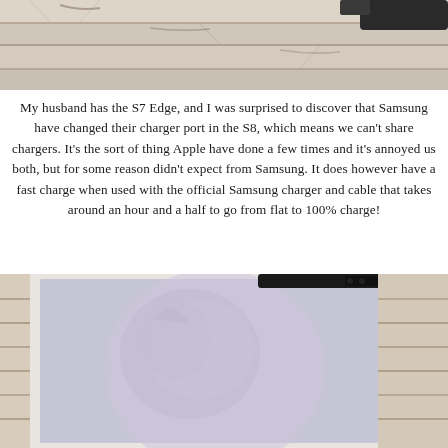[Figure (photo): Close-up photo of weathered white wooden planks/boards, appears to be a deck or table surface, with a dark object partially visible at top right corner.]
My husband has the S7 Edge, and I was surprised to discover that Samsung have changed their charger port in the S8, which means we can't share chargers. It's the sort of thing Apple have done a few times and it's annoyed us both, but for some reason didn't expect from Samsung. It does however have a fast charge when used with the official Samsung charger and cable that takes around an hour and a half to go from flat to 100% charge!
[Figure (photo): Photo of a Samsung Galaxy S8 smartphone with a custom phone case featuring a dog image, laying on weathered white wooden planks/boards.]